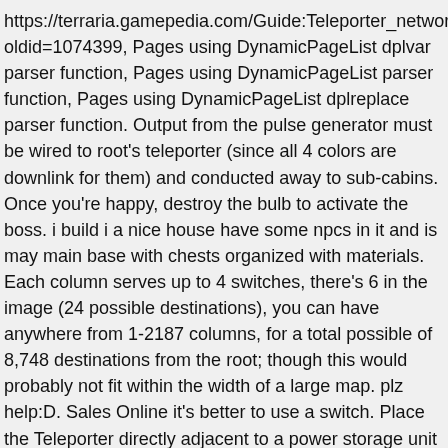https://terraria.gamepedia.com/Guide:Teleporter_network?oldid=1074399, Pages using DynamicPageList dplvar parser function, Pages using DynamicPageList parser function, Pages using DynamicPageList dplreplace parser function. Output from the pulse generator must be wired to root's teleporter (since all 4 colors are downlink for them) and conducted away to sub-cabins. Once you're happy, destroy the bulb to activate the boss. i build i a nice house have some npcs in it and is may main base with chests organized with materials. Each column serves up to 4 switches, there's 6 in the image (24 possible destinations), you can have anywhere from 1-2187 columns, for a total possible of 8,748 destinations from the root; though this would probably not fit within the width of a large map. plz help:D. Sales Online it's better to use a switch. Place the Teleporter directly adjacent to a power storage unit such as an MFE Unit or MFSU. Steam Community :: Guide :: Introduction to Terraria Wiring Possibly one of the easiest wire creations in Terraria: the simple light switch. Starraria is a massive adventure/exploration map combining core